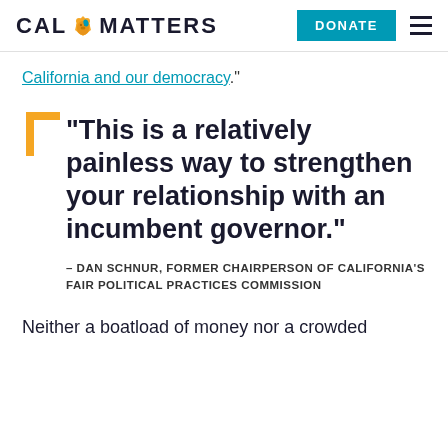CAL MATTERS | DONATE
California and our democracy."
"This is a relatively painless way to strengthen your relationship with an incumbent governor." – DAN SCHNUR, FORMER CHAIRPERSON OF CALIFORNIA'S FAIR POLITICAL PRACTICES COMMISSION
Neither a boatload of money nor a crowded